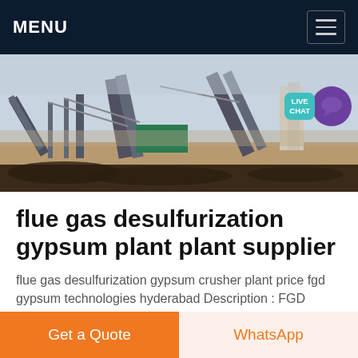MENU
[Figure (photo): Industrial mining/crushing plant machinery with conveyor belts and structures on a dusty open site]
flue gas desulfurization gypsum plant plant supplier
flue gas desulfurization gypsum crusher plant price fgd gypsum technologies hyderabad Description : FGD gypsum crusher plant supplier FGD Gypsum Panel Plant geminiconstructions Flue gas desulfurization plants stone crusher plant for sale and price Flue gas desulfurization gypsum plant plant Flue gas desulfurization gyp panel
Get a Quote
WhatsApp